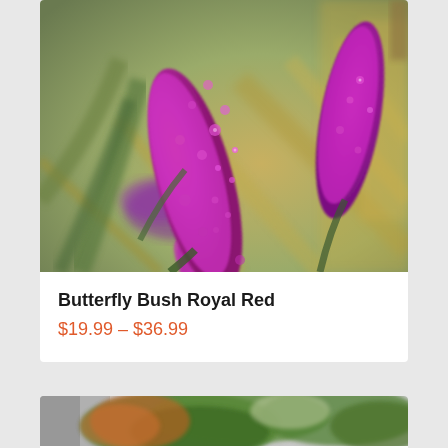[Figure (photo): Close-up photo of Butterfly Bush Royal Red with vivid magenta/purple flower spikes against blurred green and golden grassy background]
Butterfly Bush Royal Red
$19.99 – $36.99
[Figure (photo): Partial photo of another plant product partially visible at the bottom of the page, showing green and orange/brown foliage]